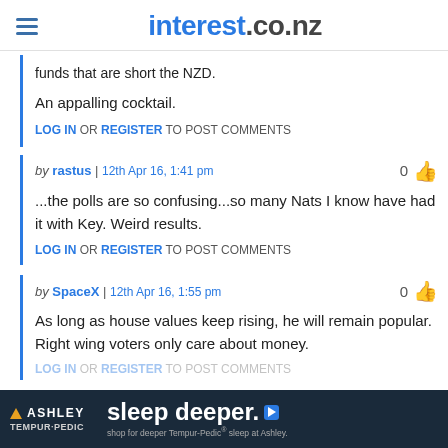interest.co.nz
funds that are short the NZD.
An appalling cocktail.
LOG IN OR REGISTER TO POST COMMENTS
by rastus | 12th Apr 16, 1:41 pm
...the polls are so confusing...so many Nats I know have had it with Key. Weird results.
LOG IN OR REGISTER TO POST COMMENTS
by SpaceX | 12th Apr 16, 1:55 pm
As long as house values keep rising, he will remain popular. Right wing voters only care about money.
LOG IN OR REGISTER TO POST COMMENTS
[Figure (infographic): Ashley Furniture / Tempur-Pedic advertisement banner: 'sleep deeper.' with play button icon, 'shop for deeper Tempur-Pedic sleep at Ashley.']